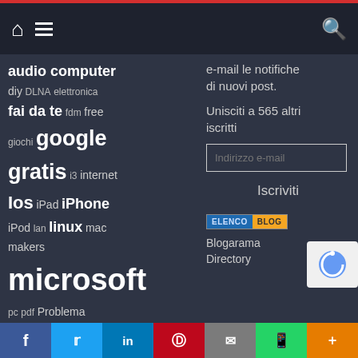Navigation bar with home, menu, and search icons
audio computer
diy DLNA elettronica
fai da te fdm free
giochi google
gratis i3 internet
Ios iPad iPhone
iPod lan linux mac
makers
microsoft
pc pdf Problema
raspberry
raspberry pi
smartphone
stampa 3d
tablet usb
video
e-mail le notifiche di nuovi post.
Unisciti a 565 altri iscritti
Indirizzo e-mail
Iscriviti
[Figure (logo): ELENCO BLOG badge]
Blogarama Directory
Social share bar: Facebook, Twitter, LinkedIn, Pinterest, Email, WhatsApp, More